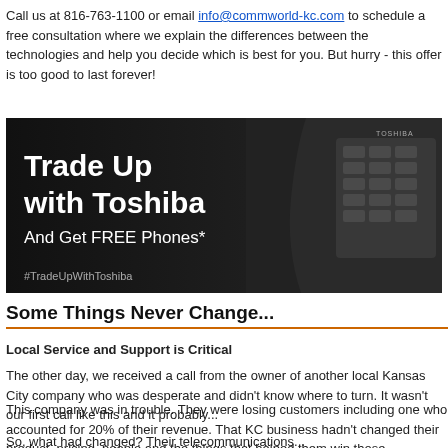Call us at 816-763-1100 or email info@commworld-kc.com to schedule a free consultation where we explain the differences between the technologies and help you decide which is best for you. But hurry - this offer is too good to last forever!
[Figure (illustration): Toshiba Trade Up promotion banner with dark background showing a Toshiba office phone. Text reads: Trade Up with Toshiba - And Get FREE Phones* - #TradeUpWithToshiba]
Some Things Never Change...
Local Service and Support is Critical
The other day, we received a call from the owner of another local Kansas City company who was desperate and didn't know where to turn. It wasn't our first call like this and it probably won't be our last.
This company was in trouble. They were losing customers including one who accounted for 20% of their revenue. That KC business hadn't changed their product, pricing, people or any of the things that helped them win those customers in the first place. But now customers were complaining about poor communication and lack of response that were taking their business somewhere else.
So, what had changed? Their telecommunications...